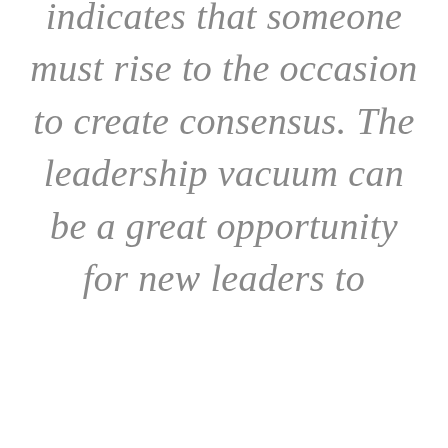indicates that someone must rise to the occasion to create consensus. The leadership vacuum can be a great opportunity for new leaders to